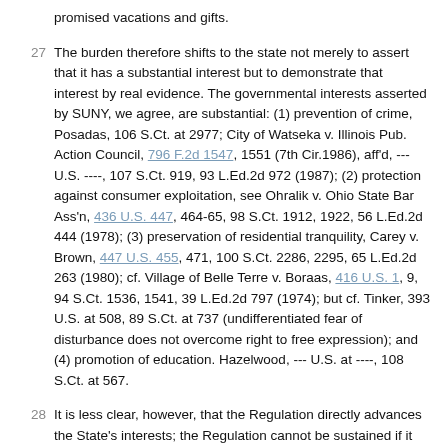promised vacations and gifts.
27  The burden therefore shifts to the state not merely to assert that it has a substantial interest but to demonstrate that interest by real evidence. The governmental interests asserted by SUNY, we agree, are substantial: (1) prevention of crime, Posadas, 106 S.Ct. at 2977; City of Watseka v. Illinois Pub. Action Council, 796 F.2d 1547, 1551 (7th Cir.1986), aff'd, --- U.S. ----, 107 S.Ct. 919, 93 L.Ed.2d 972 (1987); (2) protection against consumer exploitation, see Ohralik v. Ohio State Bar Ass'n, 436 U.S. 447, 464-65, 98 S.Ct. 1912, 1922, 56 L.Ed.2d 444 (1978); (3) preservation of residential tranquility, Carey v. Brown, 447 U.S. 455, 471, 100 S.Ct. 2286, 2295, 65 L.Ed.2d 263 (1980); cf. Village of Belle Terre v. Boraas, 416 U.S. 1, 9, 94 S.Ct. 1536, 1541, 39 L.Ed.2d 797 (1974); but cf. Tinker, 393 U.S. at 508, 89 S.Ct. at 737 (undifferentiated fear of disturbance does not overcome right to free expression); and (4) promotion of education. Hazelwood, --- U.S. at ----, 108 S.Ct. at 567.
28  It is less clear, however, that the Regulation directly advances the State's interests; the Regulation cannot be sustained if it only provides "ineffective or remote support for the government's purpose." Central Hudson, 447 U.S. at 564, 100 S.Ct. at 2350.